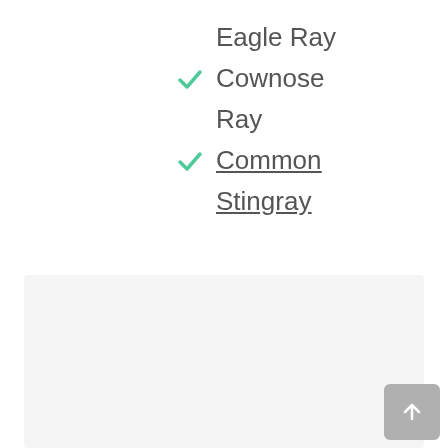Eagle Ray
✓ Cownose
Ray
✓ Common
Stingray